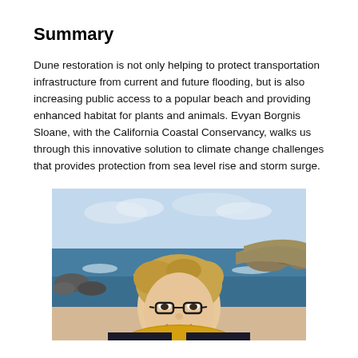Summary
Dune restoration is not only helping to protect transportation infrastructure from current and future flooding, but is also increasing public access to a popular beach and providing enhanced habitat for plants and animals. Evyan Borgnis Sloane, with the California Coastal Conservancy, walks us through this innovative solution to climate change challenges that provides protection from sea level rise and storm surge.
[Figure (photo): Portrait photo of a smiling woman with glasses and a yellow/mustard scarf, standing outdoors with rocky coastline and ocean waves in the background under a partly cloudy sky.]